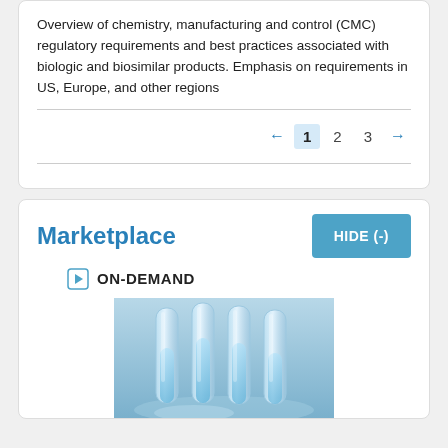Overview of chemistry, manufacturing and control (CMC) regulatory requirements and best practices associated with biologic and biosimilar products. Emphasis on requirements in US, Europe, and other regions
← 1 2 3 →
Marketplace
ON-DEMAND
[Figure (photo): Photo of laboratory test tubes filled with clear liquid, arranged in a row]